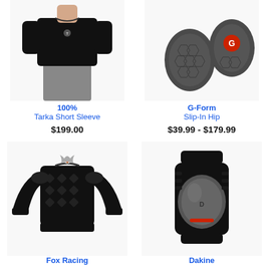[Figure (photo): Man wearing 100% Tarka Short Sleeve black shirt]
100%
Tarka Short Sleeve
$199.00
[Figure (photo): G-Form Slip-In Hip protective pads, dark grey with G logo]
G-Form
Slip-In Hip
$39.99 - $179.99
[Figure (photo): Fox Racing black full-body armor jacket with long sleeves]
Fox Racing
[Figure (photo): Dakine black knee/elbow pad protector]
Dakine